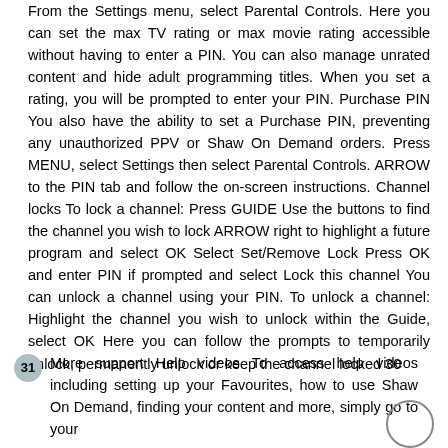From the Settings menu, select Parental Controls. Here you can set the max TV rating or max movie rating accessible without having to enter a PIN. You can also manage unrated content and hide adult programming titles. When you set a rating, you will be prompted to enter your PIN. Purchase PIN You also have the ability to set a Purchase PIN, preventing any unauthorized PPV or Shaw On Demand orders. Press MENU, select Settings then select Parental Controls. ARROW to the PIN tab and follow the on-screen instructions. Channel locks To lock a channel: Press GUIDE Use the buttons to find the channel you wish to lock ARROW right to highlight a future program and select OK Select Set/Remove Lock Press OK and enter PIN if prompted and select Lock this channel You can unlock a channel using your PIN. To unlock a channel: Highlight the channel you wish to unlock within the Guide, select OK Here you can follow the prompts to temporarily unlock, permanently unlock or keep the channel locked 30
31  More support Help videos To access help videos including setting up your Favourites, how to use Shaw On Demand, finding your content and more, simply go to your